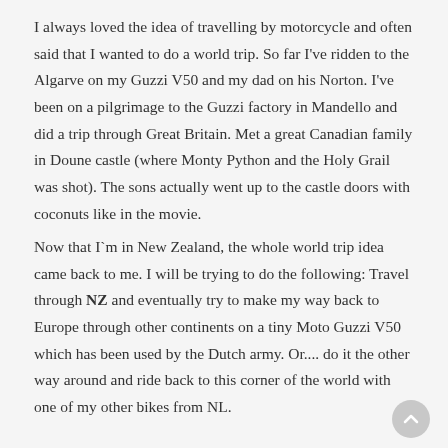I always loved the idea of travelling by motorcycle and often said that I wanted to do a world trip. So far I've ridden to the Algarve on my Guzzi V50 and my dad on his Norton. I've been on a pilgrimage to the Guzzi factory in Mandello and did a trip through Great Britain. Met a great Canadian family in Doune castle (where Monty Python and the Holy Grail was shot). The sons actually went up to the castle doors with coconuts like in the movie.
Now that I`m in New Zealand, the whole world trip idea came back to me. I will be trying to do the following: Travel through NZ and eventually try to make my way back to Europe through other continents on a tiny Moto Guzzi V50 which has been used by the Dutch army. Or.... do it the other way around and ride back to this corner of the world with one of my other bikes from NL.